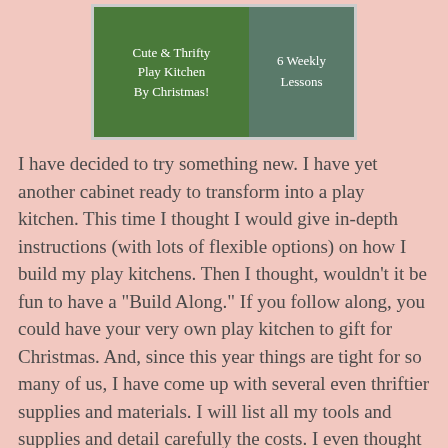[Figure (photo): Two chalkboard signs side by side. Left sign (green background) reads 'Cute & Thrifty Play Kitchen By Christmas!' in chalk lettering. Right sign (dark background) reads '6 Weekly Lessons'.]
I have decided to try something new. I have yet another cabinet ready to transform into a play kitchen. This time I thought I would give in-depth instructions (with lots of flexible options) on how I build my play kitchens. Then I thought, wouldn't it be fun to have a "Build Along." If you follow along, you could have your very own play kitchen to gift for Christmas. And, since this year things are tight for so many of us, I have come up with several even thriftier supplies and materials. I will list all my tools and supplies and detail carefully the costs. I even thought I would host a special give away at the end.
Can you build it? Yes you can!
Maybe your thinking, "I have never built anything in my life!" Seventh grade shop class was the last time I  built anything before the pink play kitchen. I made a rack for VCR tapes.